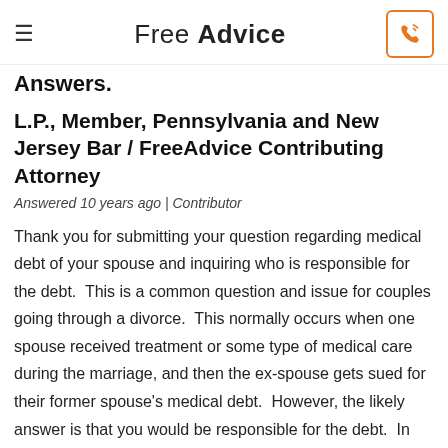Free Advice
Answers.
L.P., Member, Pennsylvania and New Jersey Bar / FreeAdvice Contributing Attorney
Answered 10 years ago | Contributor
Thank you for submitting your question regarding medical debt of your spouse and inquiring who is responsible for the debt.  This is a common question and issue for couples going through a divorce.  This normally occurs when one spouse received treatment or some type of medical care during the marriage, and then the ex-spouse gets sued for their former spouse's medical debt.  However, the likely answer is that you would be responsible for the debt.  In most states, debt of one spouse is the same as debt of the other spouse.  For legal purposes, in mostly all situations, you and your spouse are